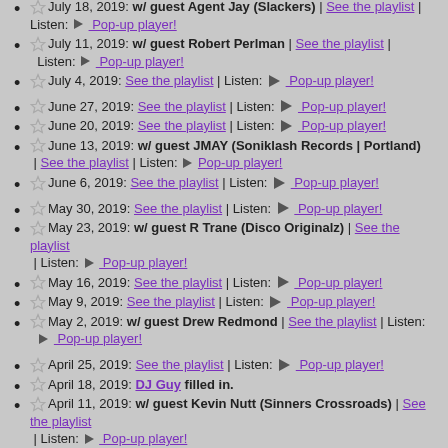July 18, 2019: w/ guest Agent Jay (Slackers) | See the playlist | Listen: Pop-up player!
July 11, 2019: w/ guest Robert Perlman | See the playlist | Listen: Pop-up player!
July 4, 2019: See the playlist | Listen: Pop-up player!
June 27, 2019: See the playlist | Listen: Pop-up player!
June 20, 2019: See the playlist | Listen: Pop-up player!
June 13, 2019: w/ guest JMAY (Soniklash Records | Portland) | See the playlist | Listen: Pop-up player!
June 6, 2019: See the playlist | Listen: Pop-up player!
May 30, 2019: See the playlist | Listen: Pop-up player!
May 23, 2019: w/ guest R Trane (Disco Originalz) | See the playlist | Listen: Pop-up player!
May 16, 2019: See the playlist | Listen: Pop-up player!
May 9, 2019: See the playlist | Listen: Pop-up player!
May 2, 2019: w/ guest Drew Redmond | See the playlist | Listen: Pop-up player!
April 25, 2019: See the playlist | Listen: Pop-up player!
April 18, 2019: DJ Guy filled in.
April 11, 2019: w/ guest Kevin Nutt (Sinners Crossroads) | See the playlist | Listen: Pop-up player!